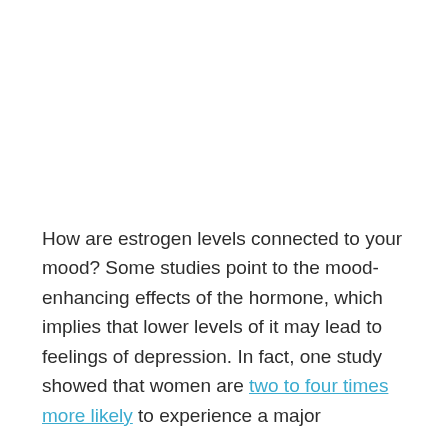How are estrogen levels connected to your mood? Some studies point to the mood-enhancing effects of the hormone, which implies that lower levels of it may lead to feelings of depression. In fact, one study showed that women are two to four times more likely to experience a major